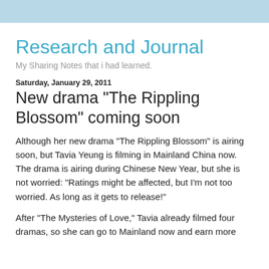Research and Journal
My Sharing Notes that i had learned.
Saturday, January 29, 2011
New drama "The Rippling Blossom" coming soon
Although her new drama "The Rippling Blossom" is airing soon, but Tavia Yeung is filming in Mainland China now. The drama is airing during Chinese New Year, but she is not worried: "Ratings might be affected, but I'm not too worried. As long as it gets to release!"
After "The Mysteries of Love," Tavia already filmed four dramas, so she can go to Mainland now and earn more